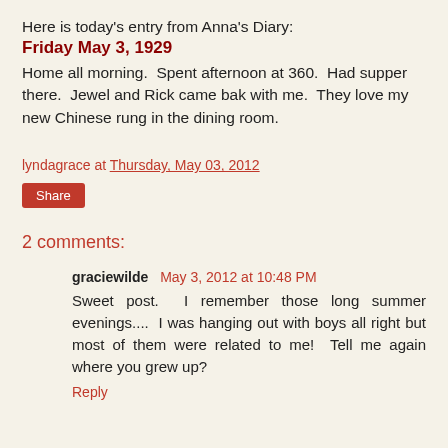Here is today's entry from Anna's Diary:
Friday May 3, 1929
Home all morning.  Spent afternoon at 360.  Had supper there.  Jewel and Rick came bak with me.  They love my new Chinese rung in the dining room.
lyndagrace at Thursday, May 03, 2012
Share
2 comments:
graciewilde  May 3, 2012 at 10:48 PM
Sweet post.  I remember those long summer evenings....  I was hanging out with boys all right but most of them were related to me!  Tell me again where you grew up?
Reply